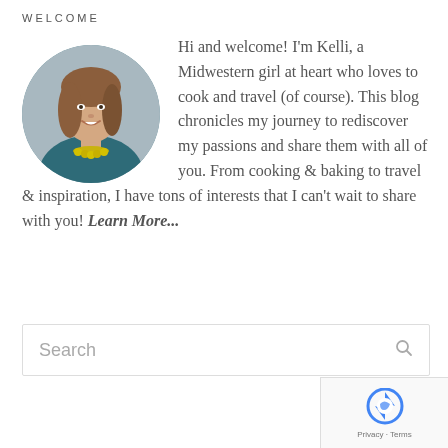WELCOME
[Figure (photo): Circular portrait photo of a woman smiling, wearing a teal top and yellow floral necklace]
Hi and welcome! I'm Kelli, a Midwestern girl at heart who loves to cook and travel (of course). This blog chronicles my journey to rediscover my passions and share them with all of you. From cooking & baking to travel & inspiration, I have tons of interests that I can't wait to share with you! Learn More...
Search
[Figure (logo): reCAPTCHA badge with Privacy and Terms links]